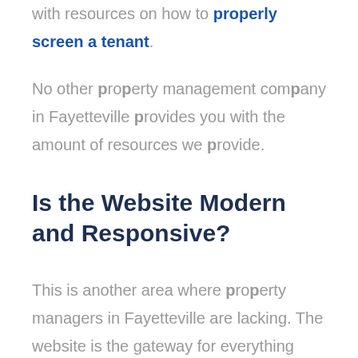with resources on how to properly screen a tenant.
No other property management company in Fayetteville provides you with the amount of resources we provide.
Is the Website Modern and Responsive?
This is another area where property managers in Fayetteville are lacking. The website is the gateway for everything from